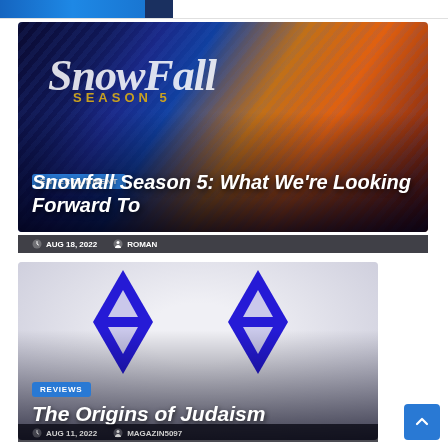[Figure (photo): Snowfall Season 5 promotional image with a man in a leather jacket against a blue swirling background with the Snowfall logo]
ENTERTAINMENT
Snowfall Season 5: What We're Looking Forward To
AUG 18, 2022  ROMAN
[Figure (illustration): Two large blue Star of David symbols on a light gray background]
REVIEWS
The Origins of Judaism
AUG 11, 2022  MAGAZIN5097